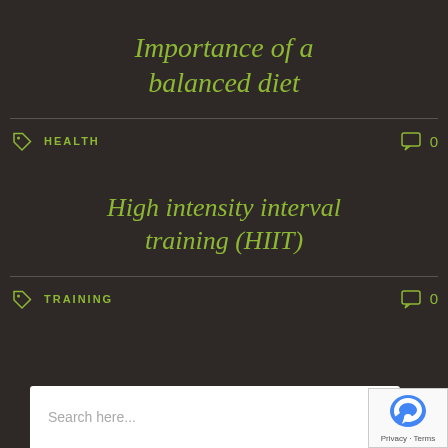Importance of a balanced diet
HEALTH   0
High intensity interval training (HIIT)
TRAINING   0
Search here...